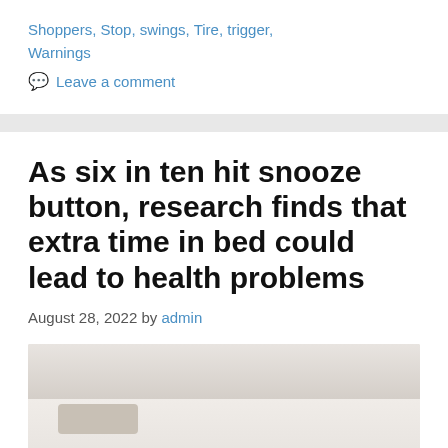Shoppers, Stop, swings, Tire, trigger, Warnings
💬 Leave a comment
As six in ten hit snooze button, research finds that extra time in bed could lead to health problems
August 28, 2022 by admin
[Figure (photo): Person in bed with white bedding, lying down, partially visible]